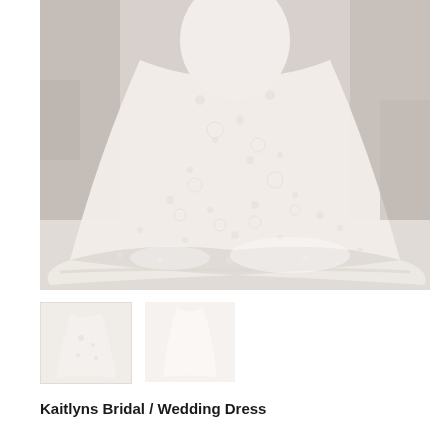[Figure (photo): Large main photo of a bridal/wedding dress with intricate lace detailing and a long flowing train, photographed from behind in a studio or showroom setting with stone/brick background elements.]
[Figure (photo): Small thumbnail image 1 - partial view of the wedding dress, similar lace detail, lighter exposure]
[Figure (photo): Small thumbnail image 2 - partial view of the wedding dress, plain light background]
Kaitlyns Bridal / Wedding Dress